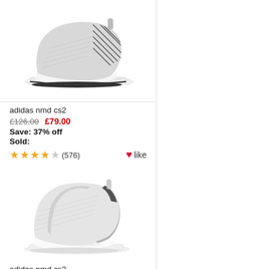[Figure (photo): Adidas NMD CS2 sneaker in grey/black colorway, side view on white background]
adidas nmd cs2
£126.00   £79.00
Save: 37% off
Sold:
★★★★☆ (576)   ❤like
[Figure (photo): Adidas NMD CS2 sneaker in light grey colorway, side view on white background]
adidas nmd cs2